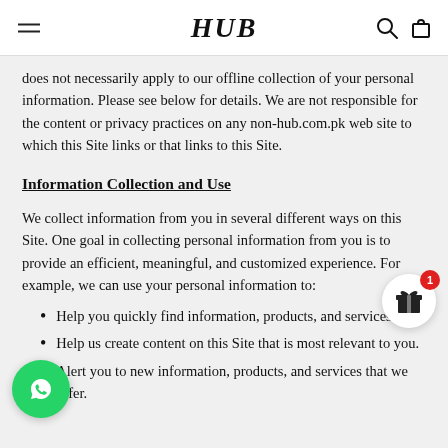HUB
does not necessarily apply to our offline collection of your personal information. Please see below for details. We are not responsible for the content or privacy practices on any non-hub.com.pk web site to which this Site links or that links to this Site.
Information Collection and Use
We collect information from you in several different ways on this Site. One goal in collecting personal information from you is to provide an efficient, meaningful, and customized experience. For example, we can use your personal information to:
Help you quickly find information, products, and services.
Help us create content on this Site that is most relevant to you.
Alert you to new information, products, and services that we offer.